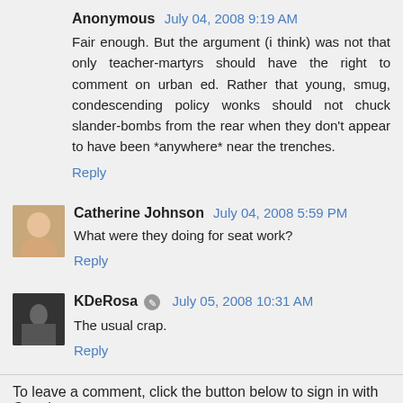Anonymous  July 04, 2008 9:19 AM
Fair enough. But the argument (i think) was not that only teacher-martyrs should have the right to comment on urban ed. Rather that young, smug, condescending policy wonks should not chuck slander-bombs from the rear when they don't appear to have been *anywhere* near the trenches.
Reply
Catherine Johnson  July 04, 2008 5:59 PM
What were they doing for seat work?
Reply
KDeRosa  July 05, 2008 10:31 AM
The usual crap.
Reply
To leave a comment, click the button below to sign in with Google.